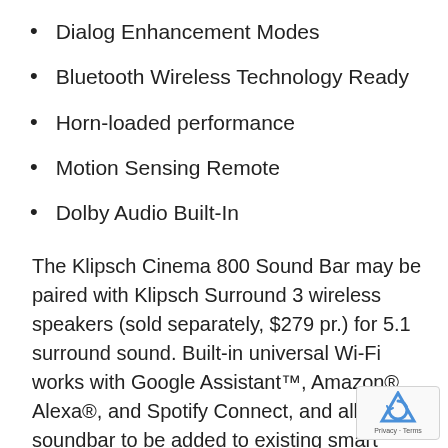Dialog Enhancement Modes
Bluetooth Wireless Technology Ready
Horn-loaded performance
Motion Sensing Remote
Dolby Audio Built-In
The Klipsch Cinema 800 Sound Bar may be paired with Klipsch Surround 3 wireless speakers (sold separately, $279 pr.) for 5.1 surround sound. Built-in universal Wi-Fi works with Google Assistant™, Amazon® Alexa®, and Spotify Connect, and allows the soundbar to be added to existing smart home ecosystems for multi-room streaming and co... Includes two additional HDMI inputs for external...